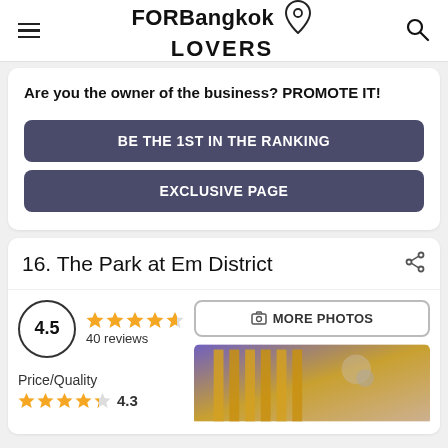FORBangkok LOVERS
Are you the owner of the business? PROMOTE IT!
BE THE 1ST IN THE RANKING
EXCLUSIVE PAGE
16. The Park at Em District
4.5 — 40 reviews
Price/Quality 4.3
[Figure (photo): Photo of The Park at Em District — architectural interior with yellow-lit vertical elements against a twilight sky]